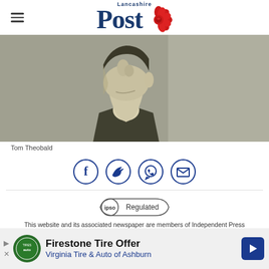Lancashire Post
[Figure (photo): Black and white portrait photograph of a young man, cropped to show lower face, neck and shoulders, wearing a suit jacket]
Tom Theobald
[Figure (other): Social sharing icons: Facebook, Twitter, WhatsApp, Email — all in blue circle outlines]
[Figure (logo): IPSO Regulated badge]
This website and its associated newspaper are members of Independent Press
[Figure (other): Advertisement: Firestone Tire Offer — Virginia Tire & Auto of Ashburn]